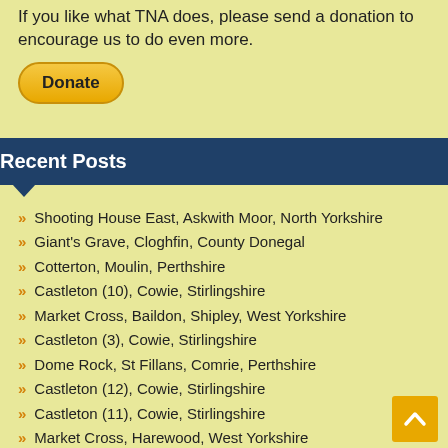If you like what TNA does, please send a donation to encourage us to do even more.
[Figure (other): PayPal Donate button — yellow rounded rectangle with bold text 'Donate']
Recent Posts
Shooting House East, Askwith Moor, North Yorkshire
Giant's Grave, Cloghfin, County Donegal
Cotterton, Moulin, Perthshire
Castleton (10), Cowie, Stirlingshire
Market Cross, Baildon, Shipley, West Yorkshire
Castleton (3), Cowie, Stirlingshire
Dome Rock, St Fillans, Comrie, Perthshire
Castleton (12), Cowie, Stirlingshire
Castleton (11), Cowie, Stirlingshire
Market Cross, Harewood, West Yorkshire
Fairy Oak, Killin, Perthshire
Glebe, Desertegney, Inishowen, Co. Donegal